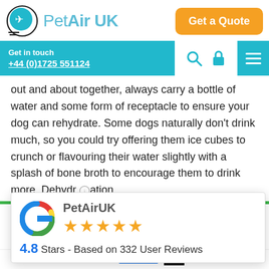[Figure (logo): PetAir UK logo with airplane icon in a circle and teal text]
[Figure (other): Orange 'Get a Quote' button]
Get in touch
+44 (0)1725 551124
out and about together, always carry a bottle of water and some form of receptacle to ensure your dog can rehydrate. Some dogs naturally don't drink much, so you could try offering them ice cubes to crunch or flavouring their water slightly with a splash of bone broth to encourage them to drink more. Dehydration
[Figure (other): Google review popup showing PetAirUK with 5 stars rated 4.8 based on 332 user reviews]
ssive
ence. By
you are ok
with this   Read more   ok